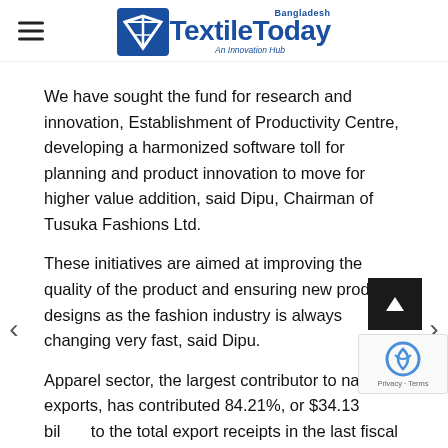Textile Today Bangladesh — An Innovation Hub
We have sought the fund for research and innovation, Establishment of Productivity Centre, developing a harmonized software toll for planning and product innovation to move for higher value addition, said Dipu, Chairman of Tusuka Fashions Ltd.
These initiatives are aimed at improving the quality of the product and ensuring new products designs as the fashion industry is always changing very fast, said Dipu.
Apparel sector, the largest contributor to national exports, has contributed 84.21%, or $34.13 bil to the total export receipts in the last fiscal year.